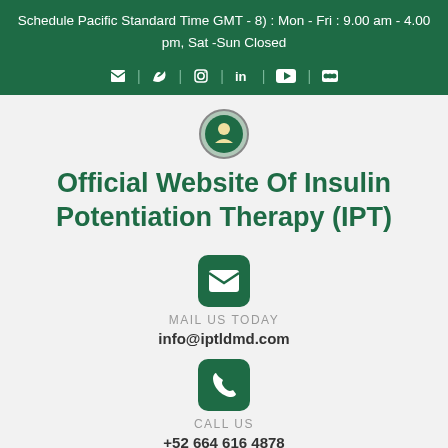Schedule Pacific Standard Time GMT - 8) : Mon - Fri : 9.00 am - 4.00 pm, Sat -Sun Closed
[Figure (infographic): Social media icons row: Facebook, Twitter, Instagram, LinkedIn, YouTube, RSS]
Official Website Of Insulin Potentiation Therapy (IPT)
[Figure (infographic): Email envelope icon in dark green rounded square]
MAIL US TODAY
info@iptldmd.com
[Figure (infographic): Phone handset icon in dark green rounded square]
CALL US
+52 664 616 4878